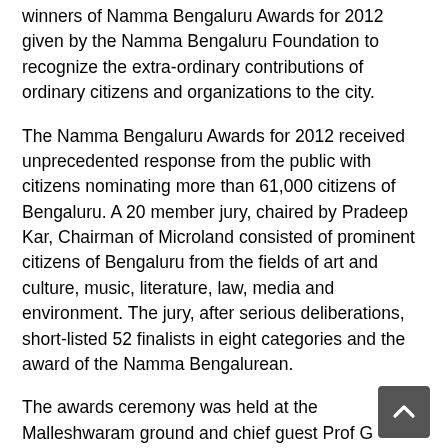winners of Namma Bengaluru Awards for 2012 given by the Namma Bengaluru Foundation to recognize the extra-ordinary contributions of ordinary citizens and organizations to the city.
The Namma Bengaluru Awards for 2012 received unprecedented response from the public with citizens nominating more than 61,000 citizens of Bengaluru. A 20 member jury, chaired by Pradeep Kar, Chairman of Microland consisted of prominent citizens of Bengaluru from the fields of art and culture, music, literature, law, media and environment. The jury, after serious deliberations, short-listed 52 finalists in eight categories and the award of the Namma Bengalurean.
The awards ceremony was held at the Malleshwaram ground and chief guest Prof G Venkatasubbaiah, the well known Kannada lexicographer gave away the awards.